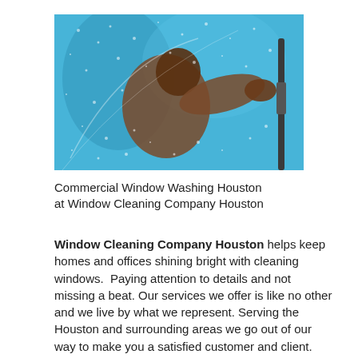[Figure (photo): A person cleaning a large glass window with a squeegee, viewed from outside. The window has soap suds and water droplets on it with a bright blue sky reflected.]
Commercial Window Washing Houston at Window Cleaning Company Houston
Window Cleaning Company Houston helps keep homes and offices shining bright with cleaning windows.  Paying attention to details and not missing a beat. Our services we offer is like no other and we live by what we represent. Serving the Houston and surrounding areas we go out of our way to make you a satisfied customer and client.